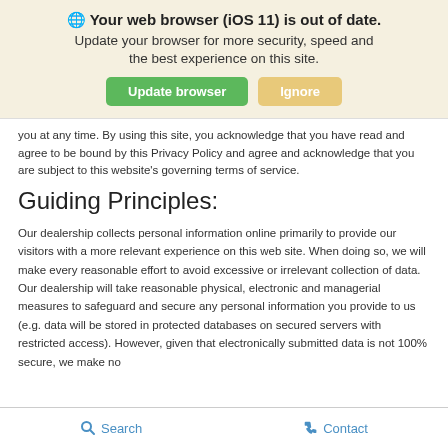[Figure (screenshot): Browser update notification banner with globe icon, bold title 'Your web browser (iOS 11) is out of date.', subtitle text, and two buttons: green 'Update browser' and tan 'Ignore'.]
you at any time. By using this site, you acknowledge that you have read and agree to be bound by this Privacy Policy and agree and acknowledge that you are subject to this website's governing terms of service.
Guiding Principles:
Our dealership collects personal information online primarily to provide our visitors with a more relevant experience on this web site. When doing so, we will make every reasonable effort to avoid excessive or irrelevant collection of data. Our dealership will take reasonable physical, electronic and managerial measures to safeguard and secure any personal information you provide to us (e.g. data will be stored in protected databases on secured servers with restricted access). However, given that electronically submitted data is not 100% secure, we make no
Search   Contact